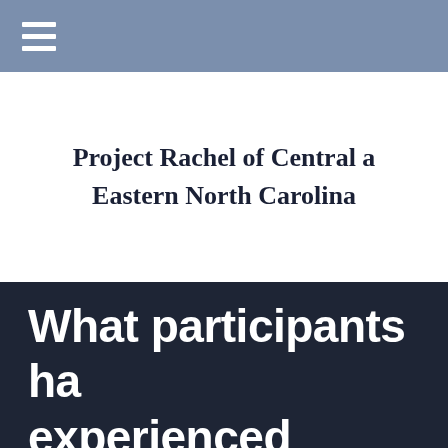Project Rachel of Central a Eastern North Carolina
What participants ha experienced